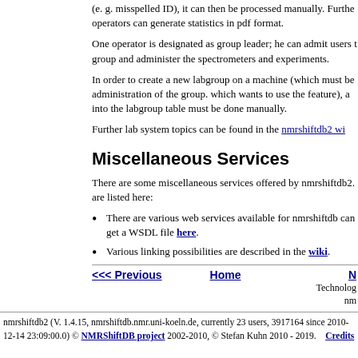(e. g. misspelled ID), it can then be processed manually. Further operators can generate statistics in pdf format.
One operator is designated as group leader; he can admit users to the group and administer the spectrometers and experiments.
In order to create a new labgroup on a machine (which must be administration of the group. which wants to use the feature), and into the labgroup table must be done manually.
Further lab system topics can be found in the nmrshiftdb2 wi
Miscellaneous Services
There are some miscellaneous services offered by nmrshiftdb2. are listed here:
There are various web services available for nmrshiftdb. can get a WSDL file here.
Various linking possibilities are described in the wiki.
<<< Previous   Home   N
Technolog
nm
nmrshiftdb2 (V. 1.4.15, nmrshiftdb.nmr.uni-koeln.de, currently 23 users, 3917164 since 2010-12-14 23:09:00.0) © NMRShiftDB project 2002-2010, © Stefan Kuhn 2010 - 2019. Credits